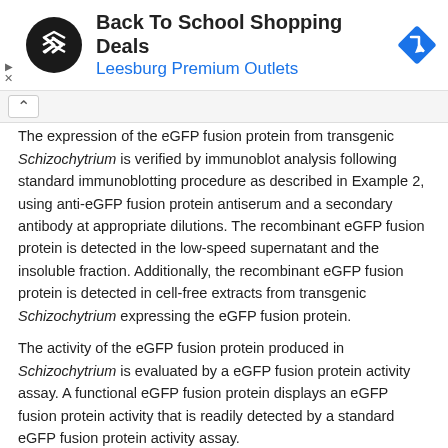[Figure (other): Advertisement banner: Back To School Shopping Deals at Leesburg Premium Outlets, with a circular logo on the left and a blue diamond navigation icon on the right]
The expression of the eGFP fusion protein from transgenic Schizochytrium is verified by immunoblot analysis following standard immunoblotting procedure as described in Example 2, using anti-eGFP fusion protein antiserum and a secondary antibody at appropriate dilutions. The recombinant eGFP fusion protein is detected in the low-speed supernatant and the insoluble fraction. Additionally, the recombinant eGFP fusion protein is detected in cell-free extracts from transgenic Schizochytrium expressing the eGFP fusion protein.
The activity of the eGFP fusion protein produced in Schizochytrium is evaluated by a eGFP fusion protein activity assay. A functional eGFP fusion protein displays an eGFP fusion protein activity that is readily detected by a standard eGFP fusion protein activity assay.
Electron microscopy, using negative-stained material produced according to Example 4, is performed to confirm the presence of extracellular bodies. Immunogold labeling is performed to confirm the association of protein with extracellular membrane bodies.